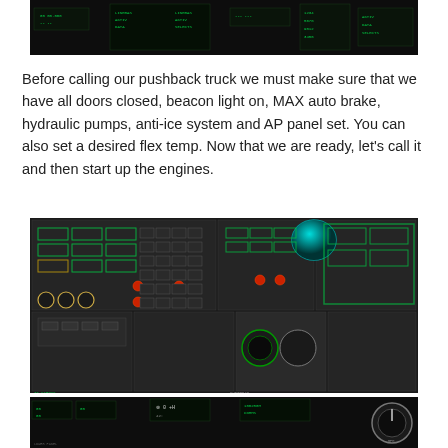[Figure (screenshot): Top cockpit display panel showing green digital readouts and instrument displays on a dark background]
Before calling our pushback truck we must make sure that we have all doors closed, beacon light on, MAX auto brake, hydraulic pumps, anti-ice system and AP panel set. You can also set a desired flex temp. Now that we are ready, let's call it and then start up the engines.
[Figure (screenshot): Aircraft overhead panel showing hydraulic pumps, electrical systems, anti-ice controls with green outlined buttons and several red indicator lights]
[Figure (screenshot): Aircraft cockpit lower panel section showing instrument gauges and controls]